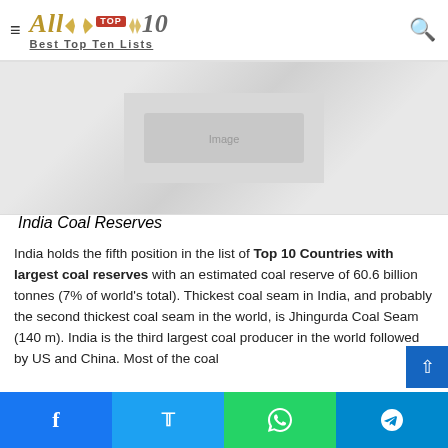All Top 10 – Best Top Ten Lists
[Figure (photo): India Coal Reserves – placeholder image area with grey background]
India Coal Reserves
India holds the fifth position in the list of Top 10 Countries with largest coal reserves with an estimated coal reserve of 60.6 billion tonnes (7% of world's total). Thickest coal seam in India, and probably the second thickest coal seam in the world, is Jhingurda Coal Seam (140 m). India is the third largest coal producer in the world followed by US and China. Most of the coal
Social sharing buttons: Facebook, Twitter, WhatsApp, Telegram